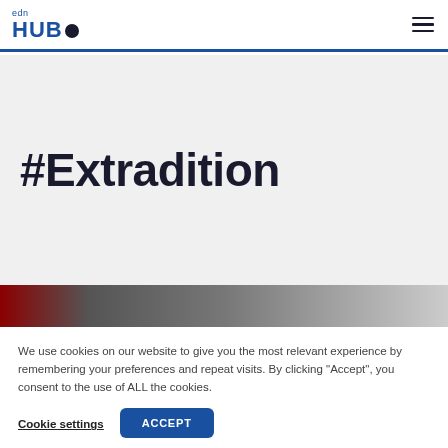edn HUB
#Extradition
[Figure (photo): Partial photo strip showing a person, cropped at the bottom of the hero section]
We use cookies on our website to give you the most relevant experience by remembering your preferences and repeat visits. By clicking “Accept”, you consent to the use of ALL the cookies.
Cookie settings    ACCEPT